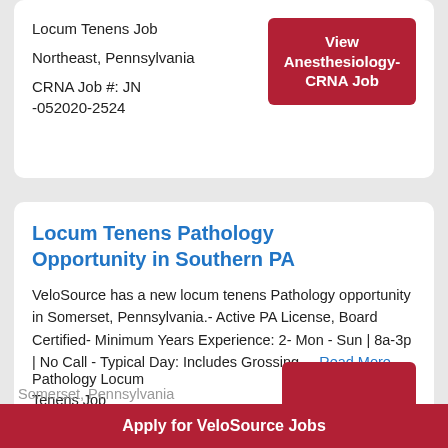Locum Tenens Job
Northeast, Pennsylvania
CRNA Job #: JN -052020-2524
View Anesthesiology-CRNA Job
Locum Tenens Pathology Opportunity in Southern PA
VeloSource has a new locum tenens Pathology opportunity in Somerset, Pennsylvania.- Active PA License, Board Certified- Minimum Years Experience: 2- Mon - Sun | 8a-3p | No Call - Typical Day: Includes Grossing,... Read More
Pathology Locum Tenens Job
Somerset, Pennsylvania
Apply for VeloSource Jobs